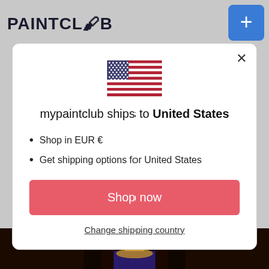PAINTCLUB
[Figure (screenshot): Blue cart/add button icon in top right corner]
[Figure (illustration): US flag emoji/illustration centered in modal]
mypaintclub ships to United States
Shop in EUR €
Get shipping options for United States
Shop now
Change shipping country
[Figure (photo): Bottom strip showing an Egyptian-themed painting/artwork]